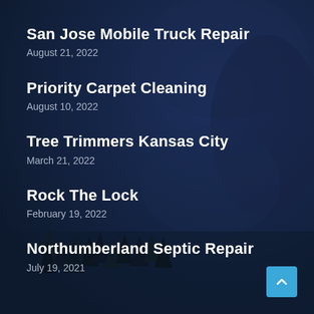San Jose Mobile Truck Repair
August 21, 2022
Priority Carpet Cleaning
August 10, 2022
Tree Trimmers Kansas City
March 21, 2022
Rock The Lock
February 19, 2022
Northumberland Septic Repair
July 19, 2021